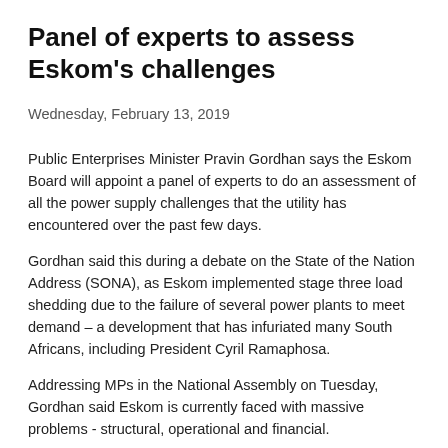Panel of experts to assess Eskom's challenges
Wednesday, February 13, 2019
Public Enterprises Minister Pravin Gordhan says the Eskom Board will appoint a panel of experts to do an assessment of all the power supply challenges that the utility has encountered over the past few days.
Gordhan said this during a debate on the State of the Nation Address (SONA), as Eskom implemented stage three load shedding due to the failure of several power plants to meet demand – a development that has infuriated many South Africans, including President Cyril Ramaphosa.
Addressing MPs in the National Assembly on Tuesday, Gordhan said Eskom is currently faced with massive problems - structural, operational and financial.
“What is the plan? We met the board and senior management